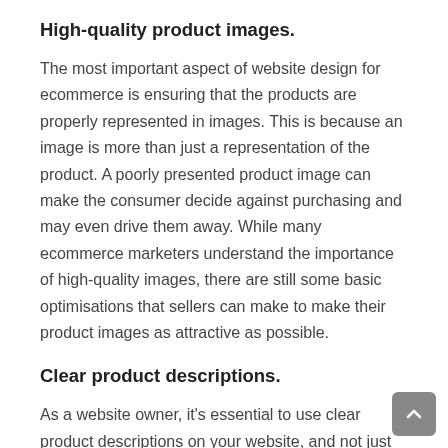High-quality product images.
The most important aspect of website design for ecommerce is ensuring that the products are properly represented in images. This is because an image is more than just a representation of the product. A poorly presented product image can make the consumer decide against purchasing and may even drive them away. While many ecommerce marketers understand the importance of high-quality images, there are still some basic optimisations that sellers can make to make their product images as attractive as possible.
Clear product descriptions.
As a website owner, it's essential to use clear product descriptions on your website, and not just any description. The words you choose and how you say...